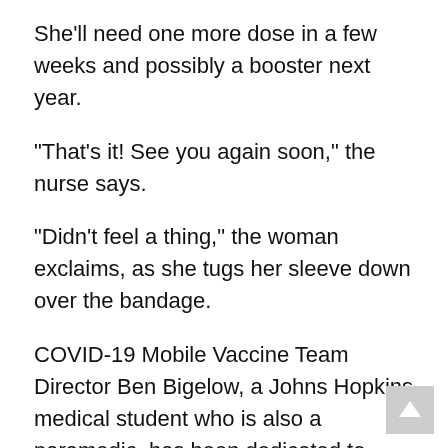She'll need one more dose in a few weeks and possibly a booster next year.
“That’s it! See you again soon,” the nurse says.
“Didn’t feel a thing,” the woman exclaims, as she tugs her sleeve down over the bandage.
COVID-19 Mobile Vaccine Team Director Ben Bigelow, a Johns Hopkins medical student who is also a paramedic, has been dedicated to getting shots into arms since the vaccine’s authorization for emergency use by the Food and Drug Administration in late 2020. Before that, he served on the Johns Hopkins “Go Team” that helped quell dangerous outbreaks at Baltimore-area nursing homes, homeless shelters and inpatient